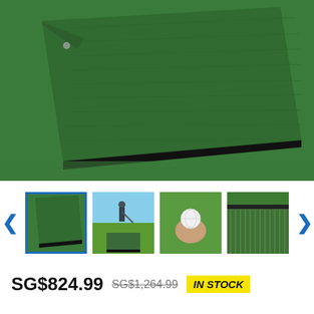[Figure (photo): Close-up photograph of a green artificial grass golf mat/turf mat, showing the mat lifted at one corner to reveal its dark rubber underside, placed on a larger green turf surface.]
[Figure (photo): Thumbnail 1 (selected, blue border): Golf mat from above showing its corner lifted.]
[Figure (photo): Thumbnail 2: Person swinging a golf club on a golf mat outdoors.]
[Figure (photo): Thumbnail 3: Hand holding a golf ball over a green mat.]
[Figure (photo): Thumbnail 4: Close-up of the artificial grass texture of the golf mat.]
SG$824.99 SG$1,264.99 IN STOCK